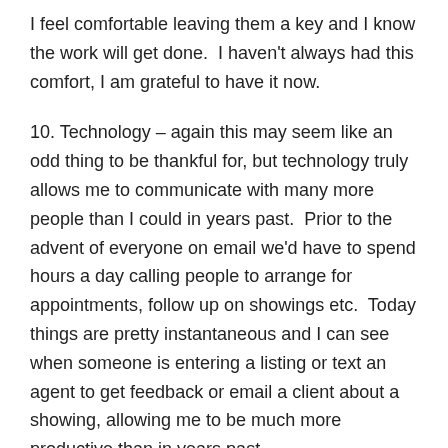I feel comfortable leaving them a key and I know the work will get done.  I haven't always had this comfort, I am grateful to have it now.
10. Technology – again this may seem like an odd thing to be thankful for, but technology truly allows me to communicate with many more people than I could in years past.  Prior to the advent of everyone on email we'd have to spend hours a day calling people to arrange for appointments, follow up on showings etc.  Today things are pretty instantaneous and I can see when someone is entering a listing or text an agent to get feedback or email a client about a showing, allowing me to be much more productive than in years past.